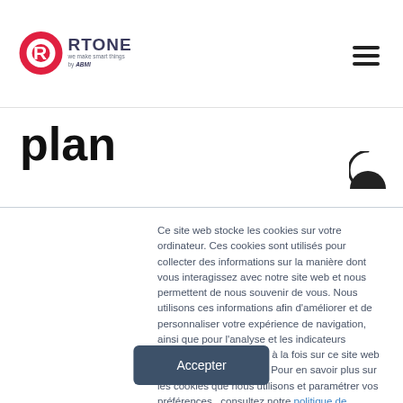RTONE — we make smart things by ABMI (logo and navigation)
plan
Ce site web stocke les cookies sur votre ordinateur. Ces cookies sont utilisés pour collecter des informations sur la manière dont vous interagissez avec notre site web et nous permettent de nous souvenir de vous. Nous utilisons ces informations afin d'améliorer et de personnaliser votre expérience de navigation, ainsi que pour l'analyse et les indicateurs concernant nos visiteurs à la fois sur ce site web et sur d'autres supports. Pour en savoir plus sur les cookies que nous utilisons et paramétrer vos préférences , consultez notre politique de cookies.